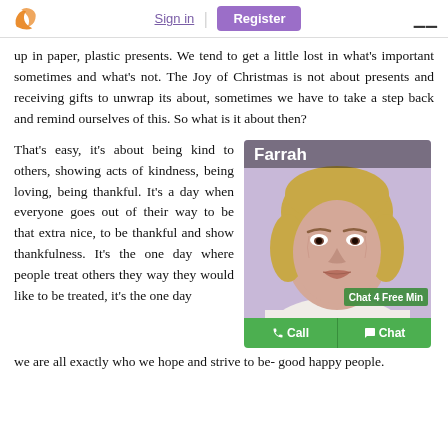Sign in | Register
up in paper, plastic presents. We tend to get a little lost in what's important sometimes and what's not. The Joy of Christmas is not about presents and receiving gifts to unwrap its about, sometimes we have to take a step back and remind ourselves of this. So what is it about then?
That's easy, it's about being kind to others, showing acts of kindness, being loving, being thankful. It's a day when everyone goes out of their way to be that extra nice, to be thankful and show thankfulness. It's the one day where people treat others they way they would like to be treated, it's the one day we are all exactly who we hope and strive to be- good happy people.
[Figure (photo): Advisor named Farrah - a middle-aged woman with blonde bob haircut, on a purple/lavender background. Has Call and Chat buttons at the bottom with 'Chat 4 Free Min' label.]